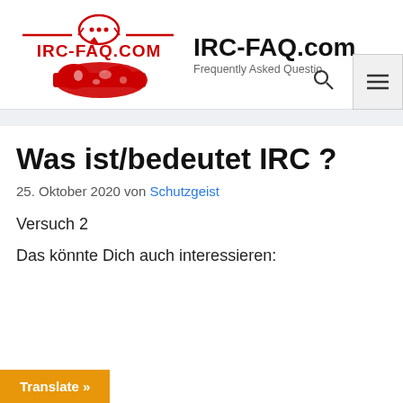[Figure (logo): IRC-FAQ.com logo with red rocket/chat bubble icon and world map in red, text IRC-FAQ.COM in red below]
IRC-FAQ.com
Frequently Asked Questions
Was ist/bedeutet IRC ?
25. Oktober 2020 von Schutzgeist
Versuch 2
Das könnte Dich auch interessieren:
Translate »